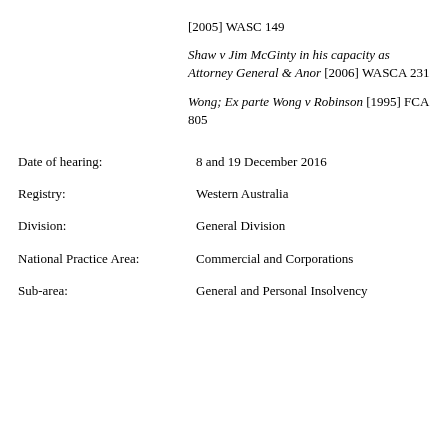[2005] WASC 149
Shaw v Jim McGinty in his capacity as Attorney General & Anor [2006] WASCA 231
Wong; Ex parte Wong v Robinson [1995] FCA 805
Date of hearing: 8 and 19 December 2016
Registry: Western Australia
Division: General Division
National Practice Area: Commercial and Corporations
Sub-area: General and Personal Insolvency